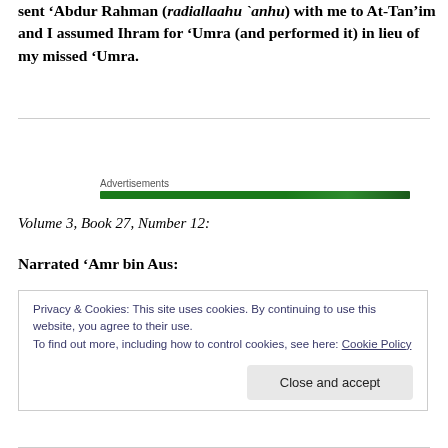sent ‘Abdur Rahman (radiallaahu `anhu) with me to At-Tan’im and I assumed Ihram for ‘Umra (and performed it) in lieu of my missed ‘Umra.
[Figure (other): Advertisement bar — green gradient bar labeled 'Advertisements']
Volume 3, Book 27, Number 12:
Narrated ‘Amr bin Aus:
Privacy & Cookies: This site uses cookies. By continuing to use this website, you agree to their use.
To find out more, including how to control cookies, see here: Cookie Policy
Close and accept